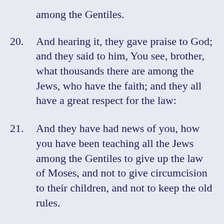among the Gentiles.
20. And hearing it, they gave praise to God; and they said to him, You see, brother, what thousands there are among the Jews, who have the faith; and they all have a great respect for the law:
21. And they have had news of you, how you have been teaching all the Jews among the Gentiles to give up the law of Moses, and not to give circumcision to their children, and not to keep the old rules.
22. What then is the position? They will